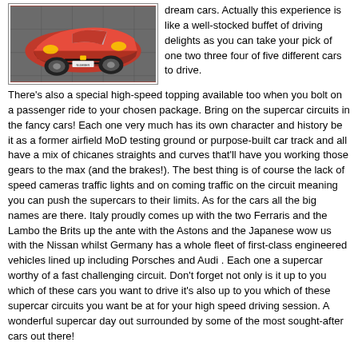[Figure (photo): Red Ferrari sports car viewed from front-above angle on a paved surface]
dream cars. Actually this experience is like a well-stocked buffet of driving delights as you can take your pick of one two three four of five different cars to drive.
There's also a special high-speed topping available too when you bolt on a passenger ride to your chosen package. Bring on the supercar circuits in the fancy cars! Each one very much has its own character and history be it as a former airfield MoD testing ground or purpose-built car track and all have a mix of chicanes straights and curves that'll have you working those gears to the max (and the brakes!). The best thing is of course the lack of speed cameras traffic lights and on coming traffic on the circuit meaning you can push the supercars to their limits. As for the cars all the big names are there. Italy proudly comes up with the two Ferraris and the Lambo the Brits up the ante with the Astons and the Japanese wow us with the Nissan whilst Germany has a whole fleet of first-class engineered vehicles lined up including Porsches and Audi . Each one a supercar worthy of a fast challenging circuit. Don't forget not only is it up to you which of these cars you want to drive it's also up to you which of these supercar circuits you want be at for your high speed driving session. A wonderful supercar day out surrounded by some of the most sought-after cars out there!